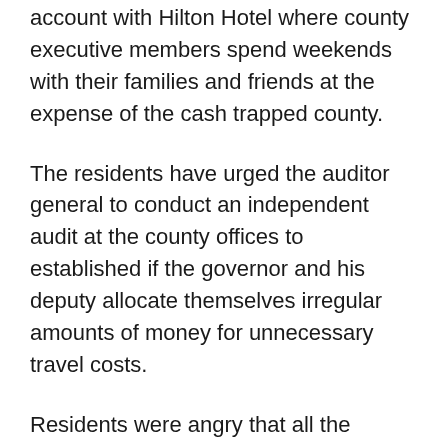account with Hilton Hotel where county executive members spend weekends with their families and friends at the expense of the cash trapped county.
The residents have urged the auditor general to conduct an independent audit at the county offices to established if the governor and his deputy allocate themselves irregular amounts of money for unnecessary travel costs.
Residents were angry that all the executive members were given kshs.100,000 each as christmass float.
Governor John Nyagarama is accused of massive corruption , nepotism and bribing